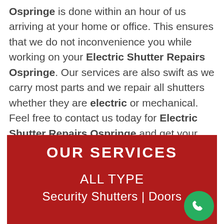Ospringe is done within an hour of us arriving at your home or office. This ensures that we do not inconvenience you while working on your Electric Shutter Repairs Ospringe. Our services are also swift as we carry most parts and we repair all shutters whether they are electric or mechanical. Feel free to contact us today for Electric Shutter Repairs Ospringe and get your free quotation.
[Figure (infographic): Red banner with white text reading OUR SERVICES, ALL TYPE, Security Shutters | Doors, with a green phone button in the bottom right corner.]